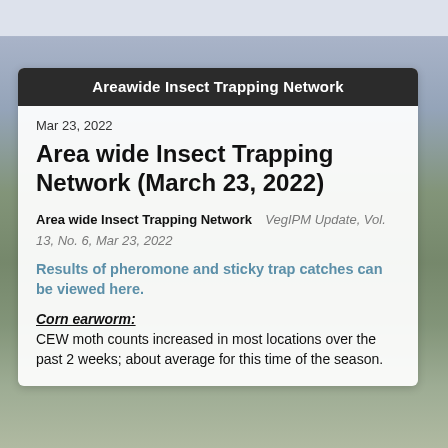Areawide Insect Trapping Network
Mar 23, 2022
Area wide Insect Trapping Network (March 23, 2022)
Area wide Insect Trapping Network   VegIPM Update, Vol. 13, No. 6, Mar 23, 2022
Results of pheromone and sticky trap catches can be viewed here.
Corn earworm:
CEW moth counts increased in most locations over the past 2 weeks; about average for this time of the season.